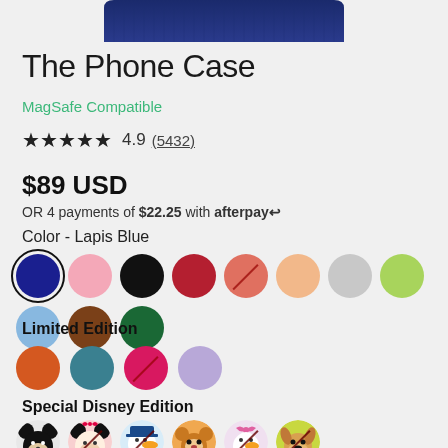[Figure (photo): Bottom portion of a dark navy blue phone case product photo visible at the top of the page]
The Phone Case
MagSafe Compatible
★★★★★ 4.9 (5432)
$89 USD
OR 4 payments of $22.25 with afterpay↩
Color - Lapis Blue
[Figure (illustration): Color swatches: Lapis Blue (selected), Pink, Black, Red, Coral (unavailable), Peach, Grey, Light Green, Light Blue, Brown, Dark Green]
Limited Edition
[Figure (illustration): Limited Edition color swatches: Orange, Teal, Hot Pink (unavailable), Lavender]
Special Disney Edition
[Figure (illustration): Disney edition swatches: Mickey Mouse, Minnie Mouse (unavailable), Donald Duck (unavailable), Chip & Dale, Daisy Duck (unavailable), Pluto (unavailable)]